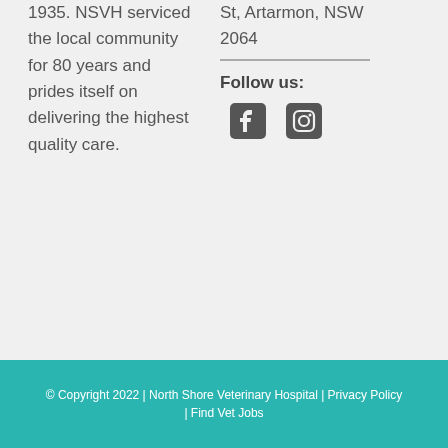1935. NSVH serviced the local community for 80 years and prides itself on delivering the highest quality care.
St, Artarmon, NSW 2064
Follow us:
[Figure (illustration): Facebook and Instagram social media icons in dark grey]
© Copyright 2022 | North Shore Veterinary Hospital | Privacy Policy | Find Vet Jobs